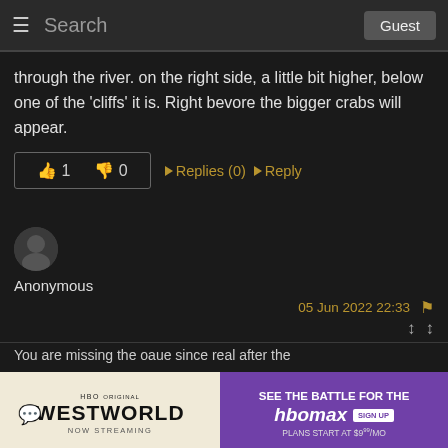Search  Guest
through the river. on the right side, a little bit higher, below one of the 'cliffs' it is. Right bevore the bigger crabs will appear.
👍 1  👎 0  ➤ Replies (0)  ➤ Reply
[Figure (photo): Anonymous user avatar - small circular dark profile picture]
Anonymous
05 Jun 2022 22:33
You are missing the oaue since real after the
[Figure (infographic): Advertisement banner: Left side shows HBO Original WESTWORLD NOW STREAMING on tan background; Right side shows SEE THE BATTLE FOR THE HBOMAX SIGN UP PLANS START AT $9.99/MO on purple background]